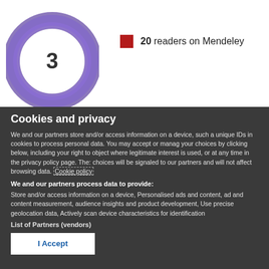[Figure (donut-chart): Donut chart with a large purple ring and the number 3 in the center white circle]
20 readers on Mendeley
Cookies and privacy
We and our partners store and/or access information on a device, such a unique IDs in cookies to process personal data. You may accept or manage your choices by clicking below, including your right to object where legitimate interest is used, or at any time in the privacy policy page. These choices will be signaled to our partners and will not affect browsing data. Cookie policy
We and our partners process data to provide:
Store and/or access information on a device, Personalised ads and content, ad and content measurement, audience insights and product development, Use precise geolocation data, Actively scan device characteristics for identification
List of Partners (vendors)
I Accept